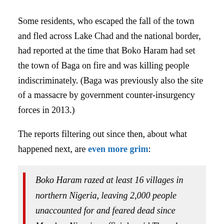Some residents, who escaped the fall of the town and fled across Lake Chad and the national border, had reported at the time that Boko Haram had set the town of Baga on fire and was killing people indiscriminately. (Baga was previously also the site of a massacre by government counter-insurgency forces in 2013.)
The reports filtering out since then, about what happened next, are even more grim:
Boko Haram razed at least 16 villages in northern Nigeria, leaving 2,000 people unaccounted for and feared dead since Monday, Nigerian officials said Thursday.
It's possible some of the missing are in hiding or are outside the country and uncounted (about 2,500 refugees crossed the border this week), but things look bleak on that possibility: